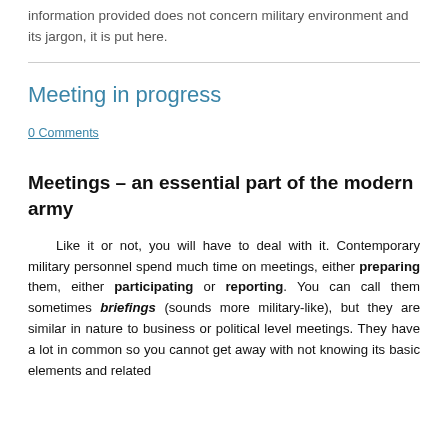information provided does not concern military environment and its jargon, it is put here.
Meeting in progress
0 Comments
Meetings – an essential part of the modern army
Like it or not, you will have to deal with it. Contemporary military personnel spend much time on meetings, either preparing them, either participating or reporting. You can call them sometimes briefings (sounds more military-like), but they are similar in nature to business or political level meetings. They have a lot in common so you cannot get away with not knowing its basic elements and related